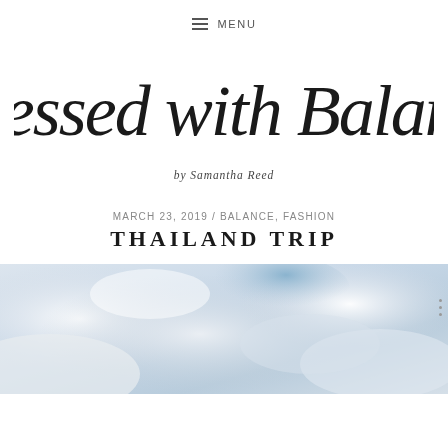MENU
[Figure (logo): Cursive script logo reading 'Dressed with Balance by Samantha Reed']
MARCH 23, 2019 / BALANCE, FASHION
THAILAND TRIP
[Figure (photo): Aerial photo showing clouds and blue sky, misty atmosphere]